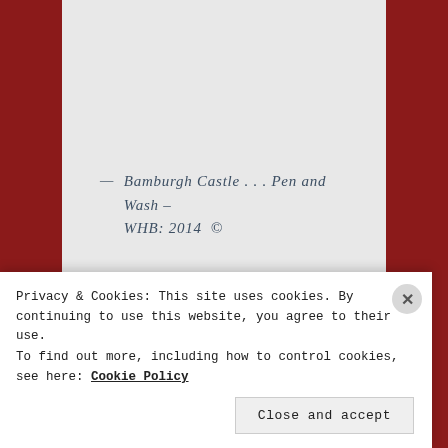[Figure (illustration): Watercolor and pen illustration of Bamburgh Castle coastal landscape, showing castle on cliff, green fields, sandy beach, water, and tidal flats. Caption text visible at bottom of image: 'Bamburgh Castle - WHB, April 2014']
— Bamburgh Castle . . . Pen and Wash – WHB: 2014 ©
Privacy & Cookies: This site uses cookies. By continuing to use this website, you agree to their use.
To find out more, including how to control cookies, see here: Cookie Policy